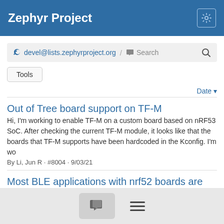Zephyr Project
devel@lists.zephyrproject.org / Search
Tools
Date ▾
Out of Tree board support on TF-M
Hi, I'm working to enable TF-M on a custom board based on nRF53 SoC. After checking the current TF-M module, it looks like that the boards that TF-M supports have been hardcoded in the Kconfig. I'm wo
By Li, Jun R · #8004 · 9/03/21
Most BLE applications with nrf52 boards are